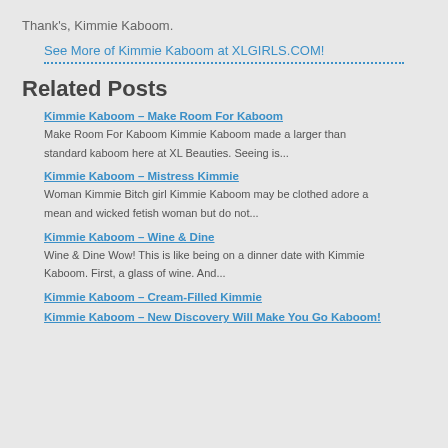Thank's, Kimmie Kaboom.
See More of Kimmie Kaboom at XLGIRLS.COM!
Related Posts
Kimmie Kaboom – Make Room For Kaboom
Make Room For Kaboom Kimmie Kaboom made a larger than standard kaboom here at XL Beauties. Seeing is...
Kimmie Kaboom – Mistress Kimmie
Woman Kimmie Bitch girl Kimmie Kaboom may be clothed adore a mean and wicked fetish woman but do not...
Kimmie Kaboom – Wine & Dine
Wine & Dine Wow! This is like being on a dinner date with Kimmie Kaboom. First, a glass of wine. And...
Kimmie Kaboom – Cream-Filled Kimmie
Kimmie Kaboom – New Discovery Will Make You Go Kaboom!